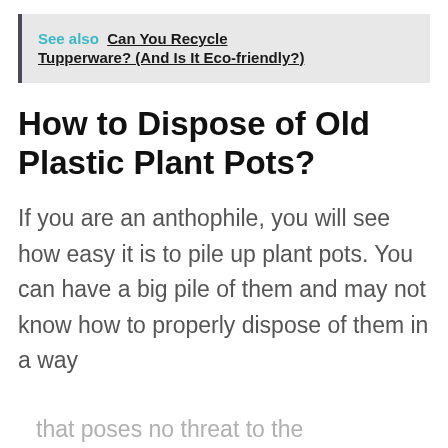See also  Can You Recycle Tupperware? (And Is It Eco-friendly?)
How to Dispose of Old Plastic Plant Pots?
If you are an anthophile, you will see how easy it is to pile up plant pots. You can have a big pile of them and may not know how to properly dispose of them in a way that poses no threat to the